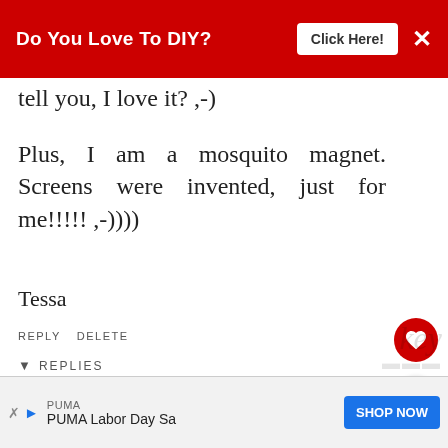[Figure (screenshot): Red banner advertisement with text 'Do You Love To DIY?' and a 'Click Here!' button and close X]
tell you, I love it? ,-)
Plus, I am a mosquito magnet. Screens were invented, just for me!!!!! ,-))))
Tessa
REPLY DELETE
▼ REPLIES
Kim
JULY 11, 2015 AT 11:07 AM
[Figure (screenshot): PUMA Labor Day Sale advertisement with SHOP NOW button at bottom of page]